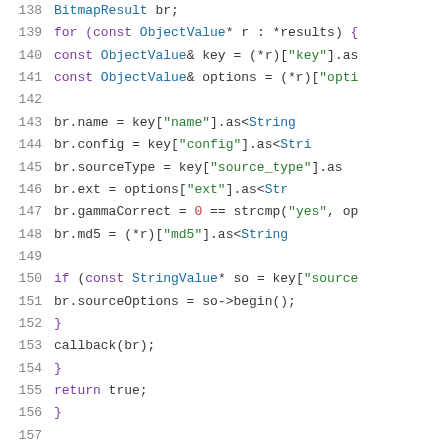[Figure (screenshot): C++ source code listing, lines 138–158, showing a loop over ObjectValue results extracting fields into a BitmapResult struct and calling a callback, followed by closing braces and a namespace comment.]